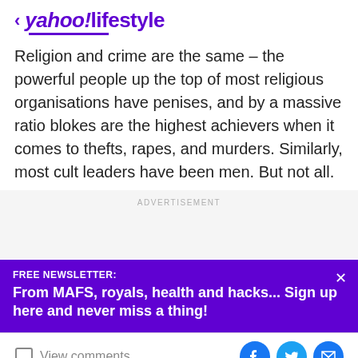< yahoo!lifestyle
Religion and crime are the same – the powerful people up the top of most religious organisations have penises, and by a massive ratio blokes are the highest achievers when it comes to thefts, rapes, and murders. Similarly, most cult leaders have been men. But not all.
ADVERTISEMENT
FREE NEWSLETTER:
From MAFS, royals, health and hacks... Sign up here and never miss a thing!
View comments